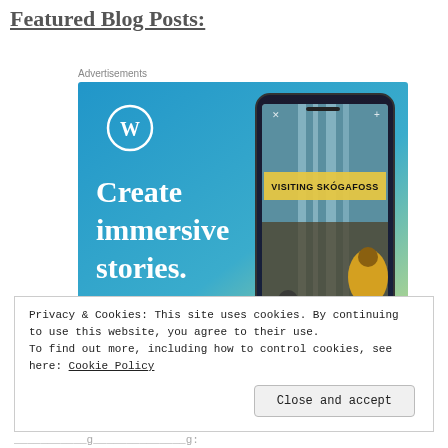Featured Blog Posts:
Advertisements
[Figure (screenshot): WordPress advertisement banner showing 'Create immersive stories.' text on a blue gradient background with WordPress logo and a smartphone displaying a blog post titled 'VISITING SKÓGAFOSS' with a waterfall/outdoors photo]
Privacy & Cookies: This site uses cookies. By continuing to use this website, you agree to their use. To find out more, including how to control cookies, see here: Cookie Policy
Close and accept